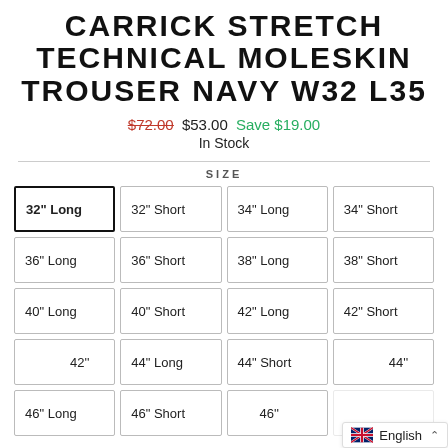CARRICK STRETCH TECHNICAL MOLESKIN TROUSER NAVY W32 L35
$72.00  $53.00  Save $19.00
In Stock
SIZE
32" Long (selected)
32" Short
34" Long
34" Short
36" Long
36" Short
38" Long
38" Short
40" Long
40" Short
42" Long
42" Short
42''
44" Long
44" Short
44''
46" Long
46" Short
46''
English